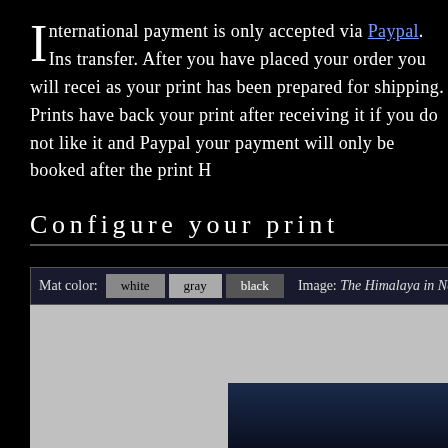International payment is only accepted via Paypal. Ins... transfer. After you have placed your order you will recei... as your print has been prepared for shipping. Prints have... back your print after receiving it if you do not like it and... Paypal your payment will only be booked after the print H...
Configure your print
| Mat color: | white | gray | black | Image: The Himalaya in Nepal cha... |
| --- | --- | --- | --- | --- |
[Figure (photo): Preview area showing a mat (gray) with a photo inset of The Himalaya in Nepal (dark blue/night sky tones) in the lower right.]